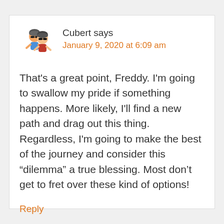[Figure (illustration): Avatar emoji image showing two cyclists wearing helmets and sunglasses]
Cubert says
January 9, 2020 at 6:09 am
That's a great point, Freddy. I'm going to swallow my pride if something happens. More likely, I'll find a new path and drag out this thing. Regardless, I'm going to make the best of the journey and consider this “dilemma” a true blessing. Most don’t get to fret over these kind of options!
Reply